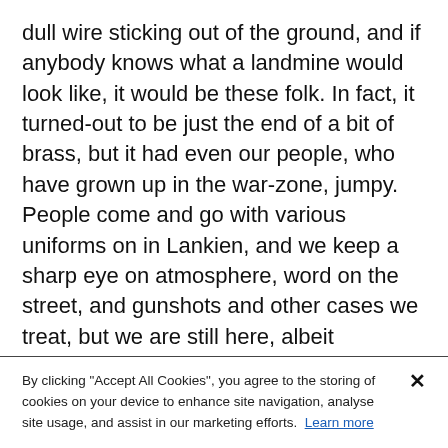dull wire sticking out of the ground, and if anybody knows what a landmine would look like, it would be these folk. In fact, it turned-out to be just the end of a bit of brass, but it had even our people, who have grown up in the war-zone, jumpy. People come and go with various uniforms on in Lankien, and we keep a sharp eye on atmosphere, word on the street, and gunshots and other cases we treat, but we are still here, albeit understaffed.
I know I keep referring to the new Sudan and the new age of independence, but it is a subject found in everything we do here. There is such a need for people to understand the basic rudiments of a 'one-size fits all' way of working, a concept of blueprint or
By clicking "Accept All Cookies", you agree to the storing of cookies on your device to enhance site navigation, analyse site usage, and assist in our marketing efforts. Learn more